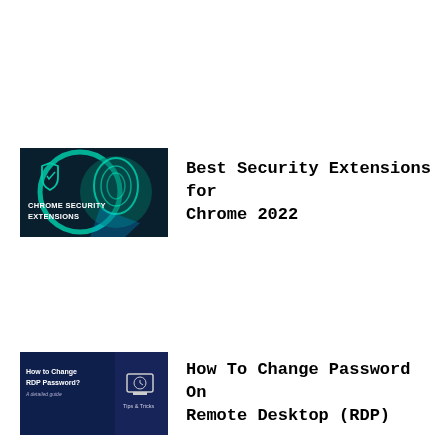[Figure (illustration): Thumbnail image with teal/dark background showing a fingerprint and shield icon with text CHROME SECURITY EXTENSIONS]
Best Security Extensions for Chrome 2022
[Figure (illustration): Thumbnail image with dark blue background showing text 'How to Change RDP Password?' and a monitor with clock icon and Tips & Tricks text]
How To Change Password On Remote Desktop (RDP)